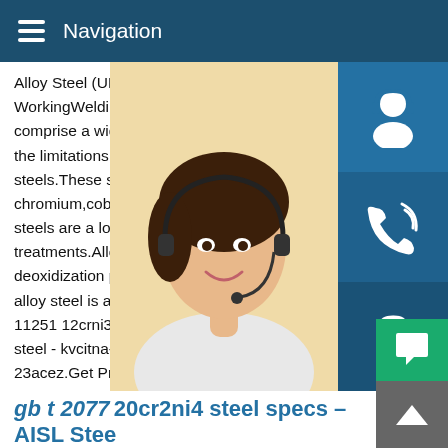Navigation
Alloy Steel (UNS G93100) - IntroductionCr WorkingWeldingFormingMachinabilityHea comprise a wide range of steels having co the limitations of Si,Va,Cr,Ni,Mo,Mn,B and steels.These steels contain elements such chromium,cobalt,nickel,etc.In comparison steels are a lot more responsive to mecha treatments.Alloy steels can be subjected to deoxidization processes for specific kind o alloy steel is a low alloy steel containingSe 11251 12crni3 steel property-KN95 MASKS,medical mask 12cr2ni4 steel - kvcitna-itterbeek.be.Gbt 11251 12cr2ni4 steel property - 23acez.Get Price.Quality and cheap gbt 11251 12cr2ni4 steel equivalent gbt 11251 12cr2ni4 steel equivalent material.GB/T1 12Cr1MoV alloy structure steel plates - BEBON steel.
[Figure (photo): Customer service woman with headset smiling, with blue service icons (headset, phone, skype) on the right side]
MANUAL SE QUOTING O Email: bsteel1@163.com
gb t 2077 20cr2ni4 steel specs – AISL Stee